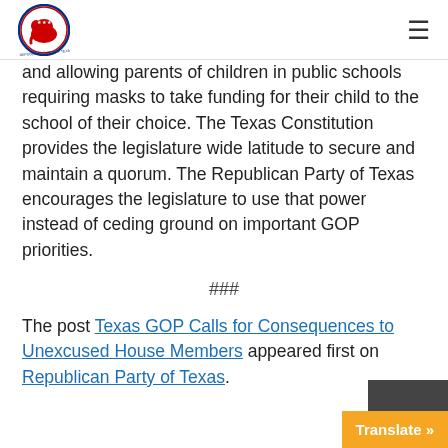Republican Party of Texas — navigation header
and allowing parents of children in public schools requiring masks to take funding for their child to the school of their choice. The Texas Constitution provides the legislature wide latitude to secure and maintain a quorum. The Republican Party of Texas encourages the legislature to use that power instead of ceding ground on important GOP priorities.
###
The post Texas GOP Calls for Consequences to Unexcused House Members appeared first on Republican Party of Texas.